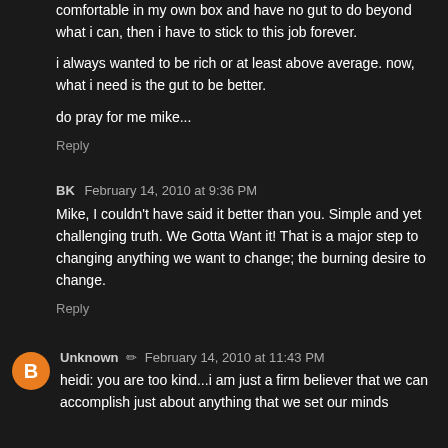comfortable in my own box and have no gut to do beyond what i can, then i have to stick to this job forever.
i always wanted to be rich or at least above average. now, what i need is the gut to be better.
do pray for me mike...
Reply
BK  February 14, 2010 at 9:36 PM
Mike, I couldn't have said it better than you. Simple and yet challenging truth. We Gotta Want it! That is a major step to changing anything we want to change; the burning desire to change.
Reply
Unknown  ✏  February 14, 2010 at 11:43 PM
heidi: you are too kind...i am just a firm believer that we can accomplish just about anything that we set our minds